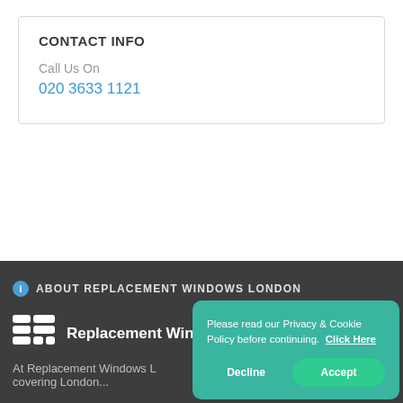CONTACT INFO
Call Us On
020 3633 1121
ABOUT REPLACEMENT WINDOWS LONDON
[Figure (logo): Replacement Windows London logo — white grid/window-pane icon with white text]
At Replacement Windows L...
Please read our Privacy & Cookie Policy before continuing. Click Here
Decline
Accept